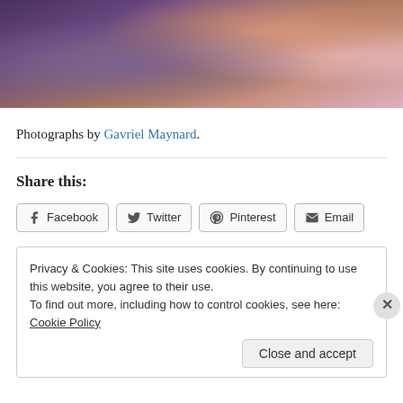[Figure (photo): Cropped photo of a person sitting among purple flowers, wearing a white dress, with a large pink flower visible at upper right. Only the lower body/legs and flowers are visible.]
Photographs by Gavriel Maynard.
Share this:
Facebook  Twitter  Pinterest  Email
Privacy & Cookies: This site uses cookies. By continuing to use this website, you agree to their use.
To find out more, including how to control cookies, see here: Cookie Policy
Close and accept